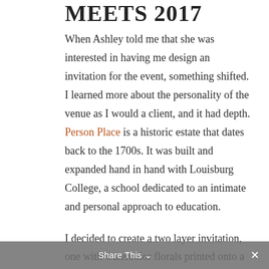MEETS 2017
When Ashley told me that she was interested in having me design an invitation for the event, something shifted. I learned more about the personality of the venue as I would a client, and it had depth. Person Place is a historic estate that dates back to the 1700s. It was built and expanded hand in hand with Louisburg College, a school dedicated to an intimate and personal approach to education.
I decided to create a two layer invitation, one with watercolor florals printed onto a meaty watercolor stock. I decided on deckled edge paper to highlight the raw nature of this element. I
Share This ×